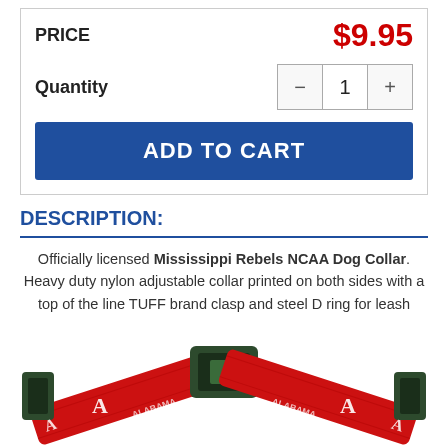PRICE
$9.95
Quantity
ADD TO CART
DESCRIPTION:
Officially licensed Mississippi Rebels NCAA Dog Collar. Heavy duty nylon adjustable collar printed on both sides with a top of the line TUFF brand clasp and steel D ring for leash attachment. Made in the USA.
[Figure (photo): Red NCAA dog collar with white letter A logos on red nylon strap with dark buckle clasps]